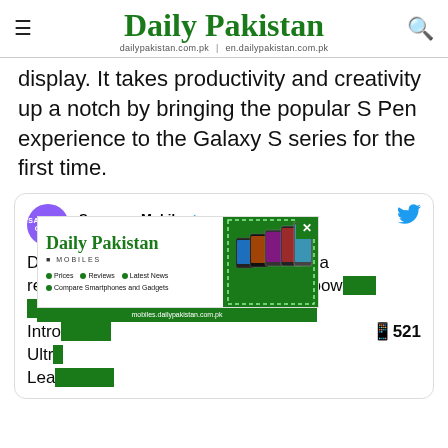Daily Pakistan | dailypakistan.com.pk | en.dailypakistan.com.pk
display. It takes productivity and creativity up a notch by bringing the popular S Pen experience to the Galaxy S series for the first time.
[Figure (screenshot): Embedded tweet from Samsung Mobile (@SamsungMobile) with verified badge and Follow button. Tweet text: 'Designed to be epic in every way, with a revolutionary camera experience and powerful performance. Introducing the #GalaxyS21 Ultra — Learn more:' with a Daily Pakistan Mobiles advertisement overlay covering part of the tweet.]